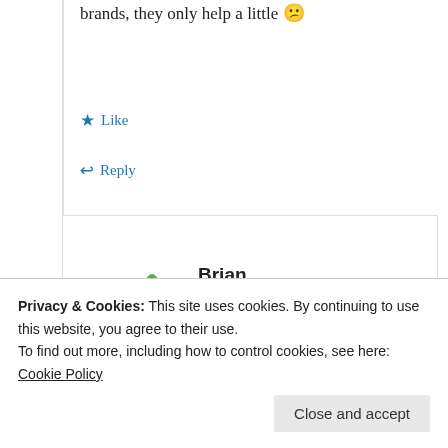brands, they only help a little 😕
Like
Reply
Brian
August 11, 2012 at 2:50 pm
I take Vicodin and flexeril and don't
Privacy & Cookies: This site uses cookies. By continuing to use this website, you agree to their use. To find out more, including how to control cookies, see here: Cookie Policy
Close and accept
Reply